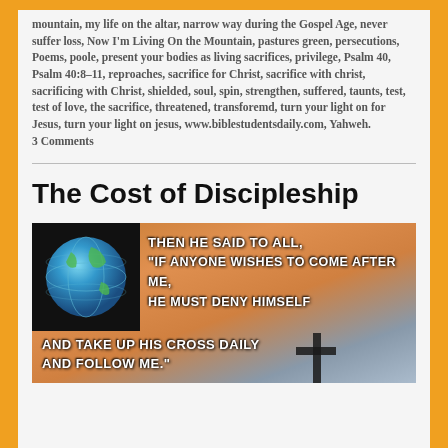mountain, my life on the altar, narrow way during the Gospel Age, never suffer loss, Now I'm Living On the Mountain, pastures green, persecutions, Poems, poole, present your bodies as living sacrifices, privilege, Psalm 40, Psalm 40:8-11, reproaches, sacrifice for Christ, sacrifice with christ, sacrificing with Christ, shielded, soul, spin, strengthen, suffered, taunts, test, test of love, the sacrifice, threatened, transforemd, turn your light on for Jesus, turn your light on jesus, www.biblestudentsdaily.com, Yahweh. 3 Comments
The Cost of Discipleship
[Figure (photo): Inspirational quote image with a dark background on the left showing a globe, and a sunset/sky background on the right. White bold uppercase text reads: 'Then he said to all, "If anyone wishes to come after me, he must deny himself and take up his cross daily and follow me."' A cross silhouette is partially visible at the bottom right.]